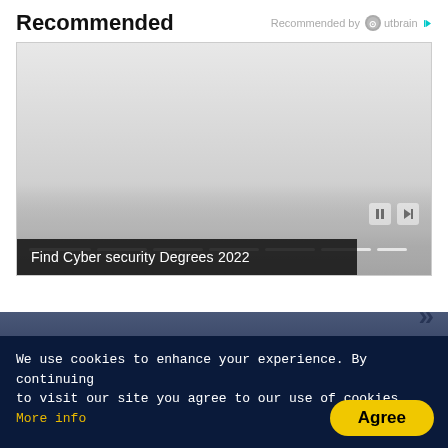Recommended
[Figure (screenshot): Outbrain recommended by logo in header]
[Figure (screenshot): Video player showing a partially loaded video with playback controls, progress segments, and a caption overlay reading 'Find Cyber security Degrees 2022']
»
[Figure (screenshot): Partial bottom strip with dark blue social media thumbnails visible]
We use cookies to enhance your experience. By continuing to visit our site you agree to our use of cookies. More info
Agree